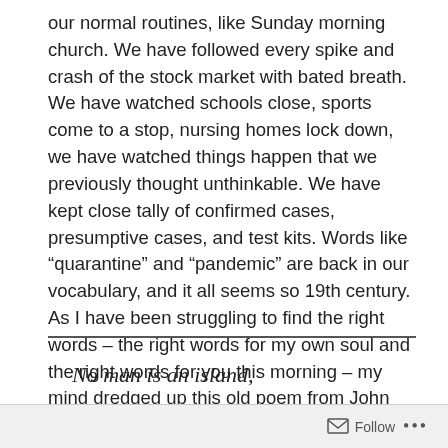our normal routines, like Sunday morning church. We have followed every spike and crash of the stock market with bated breath. We have watched schools close, sports come to a stop, nursing homes lock down, we have watched things happen that we previously thought unthinkable. We have kept close tally of confirmed cases, presumptive cases, and test kits. Words like “quarantine” and “pandemic” are back in our vocabulary, and it all seems so 19th century. As I have been struggling to find the right words – the right words for my own soul and the right words for you this morning – my mind dredged up this old poem from John Donne. Because sometimes old words have fresh meanings. John Donne wrote (in Meditation XVII):
No man is an island,
Follow